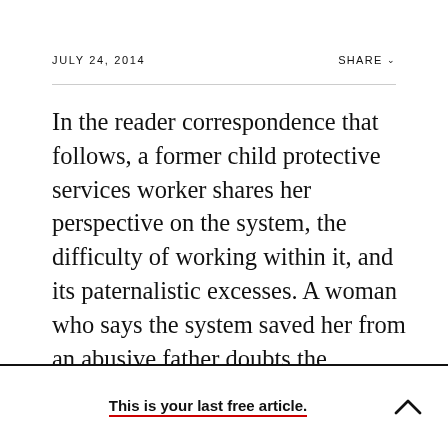JULY 24, 2014
In the reader correspondence that follows, a former child protective services worker shares her perspective on the system, the difficulty of working within it, and its paternalistic excesses. A woman who says the system saved her from an abusive father doubts the narrative that CPS is overaggressive at protecting kids. And a father
This is your last free article.